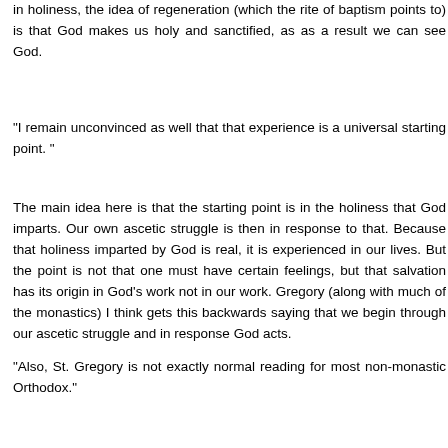in holiness, the idea of regeneration (which the rite of baptism points to) is that God makes us holy and sanctified, as as a result we can see God.
"I remain unconvinced as well that that experience is a universal starting point. "
The main idea here is that the starting point is in the holiness that God imparts. Our own ascetic struggle is then in response to that. Because that holiness imparted by God is real, it is experienced in our lives. But the point is not that one must have certain feelings, but that salvation has its origin in God's work not in our work. Gregory (along with much of the monastics) I think gets this backwards saying that we begin through our ascetic struggle and in response God acts.
"Also, St. Gregory is not exactly normal reading for most non-monastic Orthodox."
Maybe they should be :). All I can do here is quote Kallistos Ware who writes that "all theology is mystical" and Symeon who stresses that every Christian should be a mystic. I just